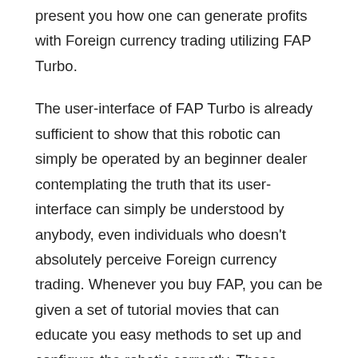present you how one can generate profits with Foreign currency trading utilizing FAP Turbo.
The user-interface of FAP Turbo is already sufficient to show that this robotic can simply be operated by an beginner dealer contemplating the truth that its user-interface can simply be understood by anybody, even individuals who doesn't absolutely perceive Foreign currency trading. Whenever you buy FAP, you can be given a set of tutorial movies that can educate you easy methods to set up and configure the robotic correctly. These movies are straightforward to grasp and when you have managed to observe these movies, you'll by no means have issues with working FAP Turbo.
Hundreds of FAP Turbo customers are making some huge cash, due to the highly effective element of this robotic referred to as the Scalper. That is the function that permits its person to obtain a number of small earnings throughout off-sessions. It has been